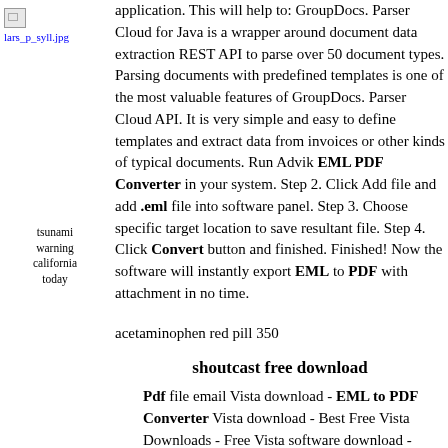[Figure (photo): Small image icon labeled lars_p_syll.jpg]
tsunami warning california today
application. This will help to: GroupDocs. Parser Cloud for Java is a wrapper around document data extraction REST API to parse over 50 document types. Parsing documents with predefined templates is one of the most valuable features of GroupDocs. Parser Cloud API. It is very simple and easy to define templates and extract data from invoices or other kinds of typical documents. Run Advik EML PDF Converter in your system. Step 2. Click Add file and add .eml file into software panel. Step 3. Choose specific target location to save resultant file. Step 4. Click Convert button and finished. Finished! Now the software will instantly export EML to PDF with attachment in no time.
acetaminophen red pill 350
shoutcast free download
Pdf file email Vista download - EML to PDF Converter Vista download - Best Free Vista Downloads - Free Vista software download - freeware, shareware and trialware downloads.